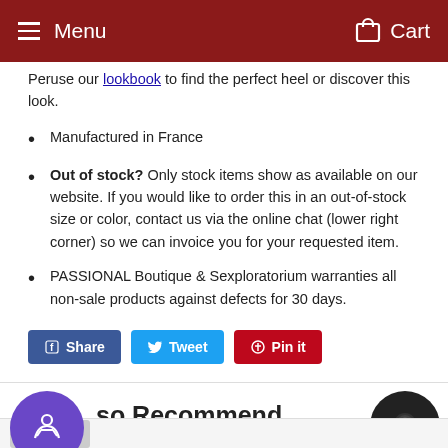Menu   Cart
Peruse our lookbook to find the perfect heel or discover this look.
Manufactured in France
Out of stock? Only stock items show as available on our website. If you would like to order this in an out-of-stock size or color, contact us via the online chat (lower right corner) so we can invoice you for your requested item.
PASSIONAL Boutique & Sexploratorium warranties all non-sale products against defects for 30 days.
Share  Tweet  Pin it
We also Recommend